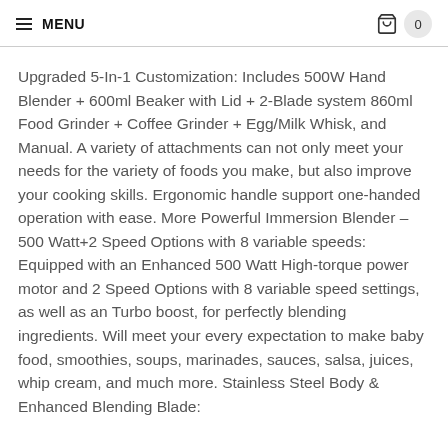MENU | cart 0
Upgraded 5-In-1 Customization: Includes 500W Hand Blender + 600ml Beaker with Lid + 2-Blade system 860ml Food Grinder + Coffee Grinder + Egg/Milk Whisk, and Manual. A variety of attachments can not only meet your needs for the variety of foods you make, but also improve your cooking skills. Ergonomic handle support one-handed operation with ease. More Powerful Immersion Blender – 500 Watt+2 Speed Options with 8 variable speeds: Equipped with an Enhanced 500 Watt High-torque power motor and 2 Speed Options with 8 variable speed settings, as well as an Turbo boost, for perfectly blending ingredients. Will meet your every expectation to make baby food, smoothies, soups, marinades, sauces, salsa, juices, whip cream, and much more. Stainless Steel Body & Enhanced Blending Blade: